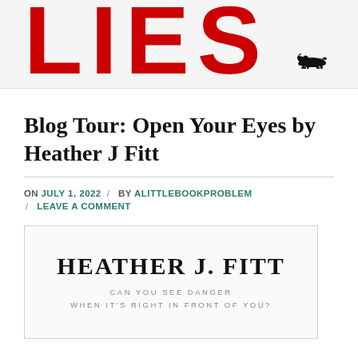LIES
Blog Tour: Open Your Eyes by Heather J Fitt
ON JULY 1, 2022 / BY ALITTLEBOOKPROBLEM / LEAVE A COMMENT
[Figure (other): Book cover preview box showing author name HEATHER J. FITT with tagline CAN YOU SEE DANGER WHEN IT'S RIGHT IN FRONT OF YOU?]